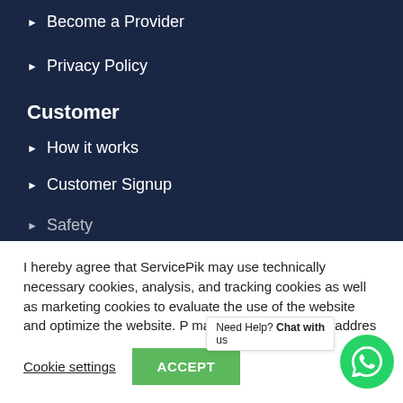Become a Provider
Privacy Policy
Customer
How it works
Customer Signup
Safety
I hereby agree that ServicePik may use technically necessary cookies, analysis, and tracking cookies as well as marketing cookies to evaluate the use of the website and optimize the website. P... may partially use my IP addre...
Cookie settings   ACCEPT